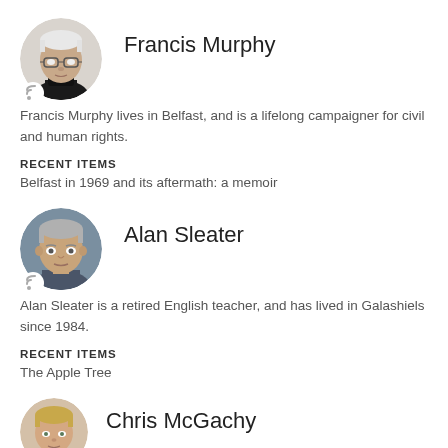Francis Murphy
[Figure (photo): Circular portrait photo of Francis Murphy, an older man with glasses and black turtleneck]
Francis Murphy lives in Belfast, and is a lifelong campaigner for civil and human rights.
RECENT ITEMS
Belfast in 1969 and its aftermath: a memoir
Alan Sleater
[Figure (photo): Circular portrait photo of Alan Sleater, an older man with grey hair]
Alan Sleater is a retired English teacher, and has lived in Galashiels since 1984.
RECENT ITEMS
The Apple Tree
Chris McGachy